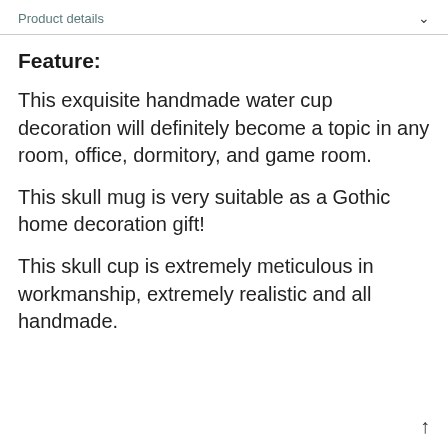Product details
Feature:
This exquisite handmade water cup decoration will definitely become a topic in any room, office, dormitory, and game room.
This skull mug is very suitable as a Gothic home decoration gift!
This skull cup is extremely meticulous in workmanship, extremely realistic and all handmade.